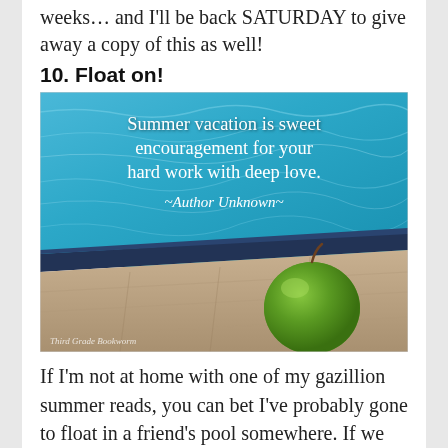weeks... and I'll be back SATURDAY to give away a copy of this as well!
10. Float on!
[Figure (photo): Photo of a swimming pool edge with blue water and a green apple sitting on the pool deck. Text overlay reads: 'Summer vacation is sweet encouragement for your hard work with deep love. ~Author Unknown~'. Watermark: Third Grade Bookworm.]
If I'm not at home with one of my gazillion summer reads, you can bet I've probably gone to float in a friend's pool somewhere. If we don't take time to